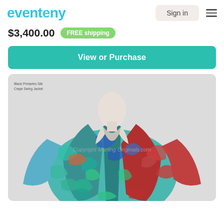eventeny
$3,400.00  FREE shipping
View or Purchase
[Figure (photo): Photo of a marbled silk crepe swing jacket displayed on a mannequin. The jacket features a swirling pattern of teal, blue, red, and green. Text overlay reads 'Black Primaries Silk Crape Swing Jacket'. Copyright watermark reads 'Copyright Marling Originals.com']